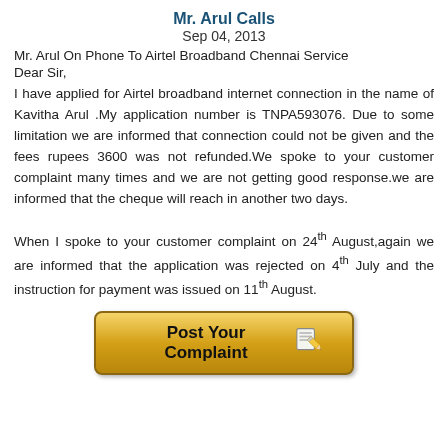Mr. Arul Calls
Sep 04, 2013
Mr. Arul On Phone To Airtel Broadband Chennai Service
Dear Sir,
I have applied for Airtel broadband internet connection in the name of Kavitha Arul .My application number is TNPA593076. Due to some limitation we are informed that connection could not be given and the fees rupees 3600 was not refunded.We spoke to your customer complaint many times and we are not getting good response.we are informed that the cheque will reach in another two days.
When I spoke to your customer complaint on 24th August,again we are informed that the application was rejected on 4th July and the instruction for payment was issued on 11th August.
[Figure (illustration): A gold/yellow button labeled 'Post Your Complaint' with a pencil and notepad icon]